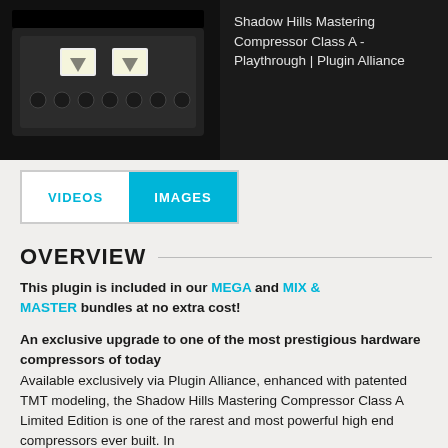[Figure (screenshot): Video thumbnail of audio hardware compressor plugin and title text 'Shadow Hills Mastering Compressor Class A - Playthrough | Plugin Alliance' on dark background]
[Figure (screenshot): Tab navigation with 'VIDEOS' and 'IMAGES' tabs, IMAGES tab selected in cyan]
OVERVIEW
This plugin is included in our MEGA and MIX & MASTER bundles at no extra cost!
An exclusive upgrade to one of the most prestigious hardware compressors of today
Available exclusively via Plugin Alliance, enhanced with patented TMT modeling, the Shadow Hills Mastering Compressor Class A Limited Edition is one of the rarest and most powerful high end compressors ever built. In